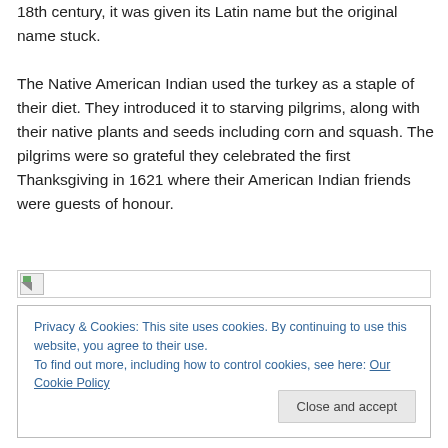18th century, it was given its Latin name but the original name stuck.
The Native American Indian used the turkey as a staple of their diet. They introduced it to starving pilgrims, along with their native plants and seeds including corn and squash. The pilgrims were so grateful they celebrated the first Thanksgiving in 1621 where their American Indian friends were guests of honour.
[Figure (photo): Broken image icon placeholder]
Privacy & Cookies: This site uses cookies. By continuing to use this website, you agree to their use.
To find out more, including how to control cookies, see here: Our Cookie Policy